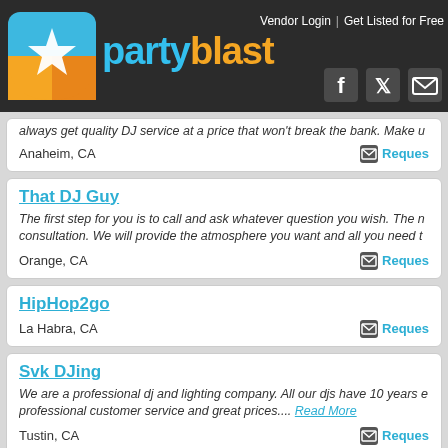PartyBlast - Vendor Login | Get Listed for Free
always get quality DJ service at a price that won't break the bank. Make u...
Anaheim, CA | Request
That DJ Guy
The first step for you is to call and ask whatever question you wish. The next step is a free consultation. We will provide the atmosphere you want and all you need t...
Orange, CA | Request
HipHop2go
La Habra, CA | Request
Svk DJing
We are a professional dj and lighting company. All our djs have 10 years experience with professional customer service and great prices.... Read More
Tustin, CA | Request
D.J. Brother's: Photo, Video, DJ & Flip Books
DJBros is #1 in Photo, DJ & Video & Flip Books. Our Attitude & Comprehensive Service are 2nd to none. We have lead the industry since 1981. Experience peace of...
Fountain Valley, CA | Request